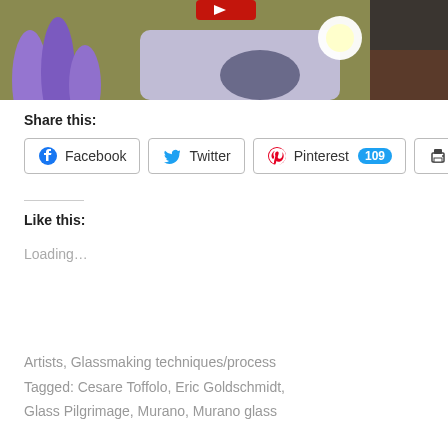[Figure (photo): Photo of a person working with glassmaking tools, purple glass sculptures visible on the left, yellow-green wall in the background, bright flame or light visible]
Share this:
Facebook  Twitter  Pinterest 109  Print
Like this:
Loading...
Artists, Glassmaking techniques/process
Tagged: Cesare Toffolo, Eric Goldschmidt, Glass Pilgrimage, Murano, Murano glass